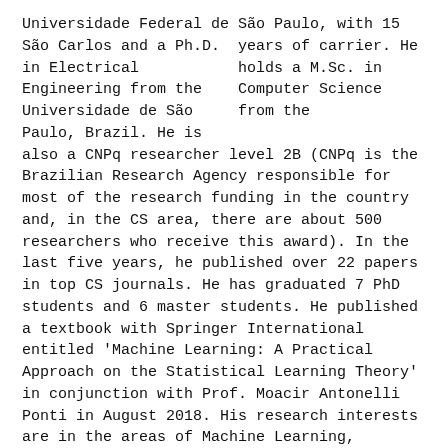São Paulo, with 15 years of carrier. He holds a M.Sc. in Computer Science from the Universidade Federal de São Carlos and a Ph.D. in Electrical Engineering from the Universidade de São Paulo, Brazil. He is also a CNPq researcher level 2B (CNPq is the Brazilian Research Agency responsible for most of the research funding in the country and, in the CS area, there are about 500 researchers who receive this award). In the last five years, he published over 22 papers in top CS journals. He has graduated 7 PhD students and 6 master students. He published a textbook with Springer International entitled 'Machine Learning: A Practical Approach on the Statistical Learning Theory' in conjunction with Prof. Moacir Antonelli Ponti in August 2018. His research interests are in the areas of Machine Learning, Statistical Learning Theory and Time Series Analysis.